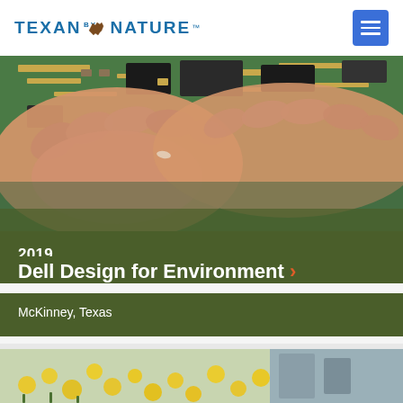TEXAN by NATURE
[Figure (photo): Close-up photo of hands touching/handling a green circuit board with gold-colored components and traces]
2019
Dell Design for Environment
McKinney, Texas
[Figure (photo): Partial view of yellow flowering plants, bottom strip preview of next card]